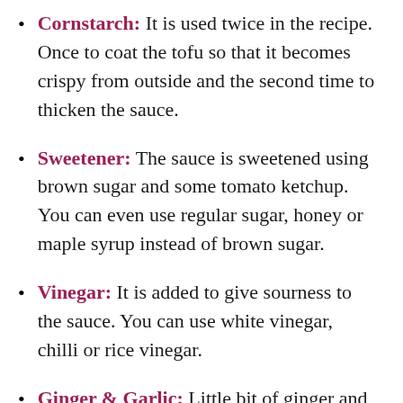Cornstarch: It is used twice in the recipe. Once to coat the tofu so that it becomes crispy from outside and the second time to thicken the sauce.
Sweetener: The sauce is sweetened using brown sugar and some tomato ketchup. You can even use regular sugar, honey or maple syrup instead of brown sugar.
Vinegar: It is added to give sourness to the sauce. You can use white vinegar, chilli or rice vinegar.
Ginger & Garlic: Little bit of ginger and garlic cloves adds flavour to the sweet and